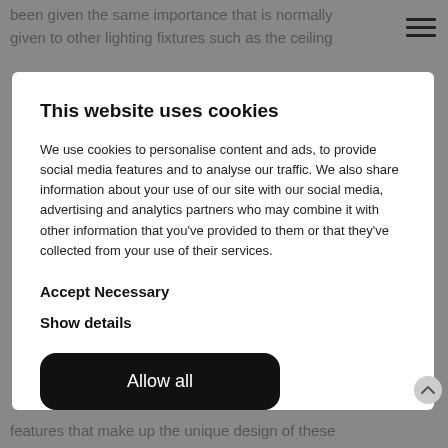been given the same importance that is normally given to other lighting fixtures such as the ceiling
This website uses cookies
We use cookies to personalise content and ads, to provide social media features and to analyse our traffic. We also share information about your use of our site with our social media, advertising and analytics partners who may combine it with other information that you've provided to them or that they've collected from your use of their services.
Accept Necessary
Show details
Allow all
features that make up the unique design of these